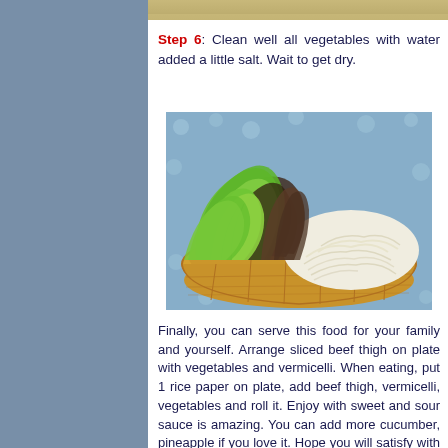[Figure (photo): Partial photo at top of page showing wooden surface with food]
Step 6: Clean well all vegetables with water added a little salt. Wait to get dry.
[Figure (photo): Photo of a woven basket on a blue polka-dot surface containing fresh green and purple lettuce leaves and a pile of white vermicelli noodles]
Finally, you can serve this food for your family and yourself. Arrange sliced beef thigh on plate with vegetables and vermicelli. When eating, put 1 rice paper on plate, add beef thigh, vermicelli, vegetables and roll it. Enjoy with sweet and sour sauce is amazing. You can add more cucumber, pineapple if you love it. Hope you will satisfy with one of Vietnamese Food Recipes like this one and